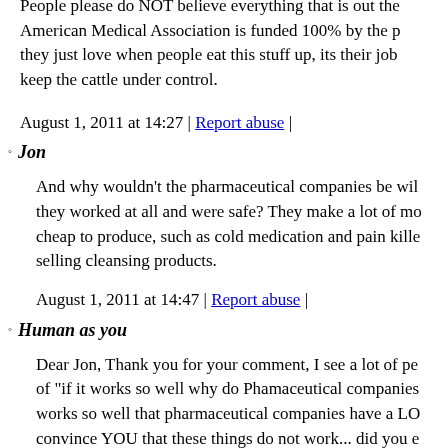People please do NOT believe everything that is out the American Medical Association is funded 100% by the p they just love when people eat this stuff up, its their job keep the cattle under control.
August 1, 2011 at 14:27 | Report abuse |
Jon
And why wouldn't the pharmaceutical companies be wil they worked at all and were safe? They make a lot of mo cheap to produce, such as cold medication and pain kille selling cleansing products.
August 1, 2011 at 14:47 | Report abuse |
Human as you
Dear Jon, Thank you for your comment, I see a lot of pe of "if it works so well why do Phamaceutical companies works so well that pharmaceutical companies have a LO convince YOU that these things do not work... did you e really believe that the multi-billion dollar phamaceutical has YOU in their best interes? they do BUT only so that articles which are witten directly by a Dr that has a direc published. Did you know for example that natural peppe almost instantly by applying a bit of peppermint oil to yo naturally made - can't be patented, therefore can't be m